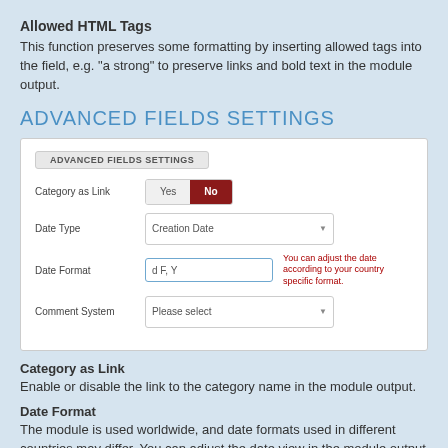Allowed HTML Tags
This function preserves some formatting by inserting allowed tags into the field, e.g. "a strong" to preserve links and bold text in the module output.
ADVANCED FIELDS SETTINGS
[Figure (screenshot): Screenshot of Advanced Fields Settings panel with fields: Category as Link (Yes/No toggle, No selected), Date Type (Creation Date dropdown), Date Format (d F, Y input with hint 'You can adjust the date according to your country specific format'), Comment System (Please select dropdown)]
Category as Link
Enable or disable the link to the category name in the module output.
Date Format
The module is used worldwide, and date formats used in different countries may differ. You can adjust the date view in the module output according to international or your country specific formats.
Use these available characters (